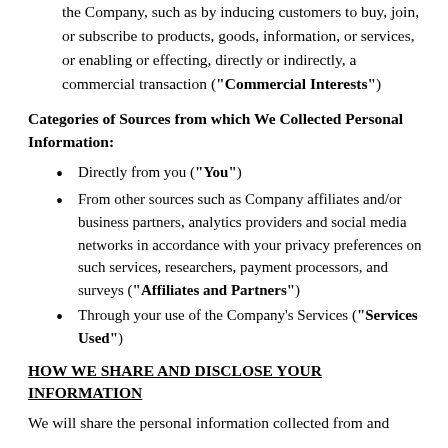the Company, such as by inducing customers to buy, join, or subscribe to products, goods, information, or services, or enabling or effecting, directly or indirectly, a commercial transaction ("Commercial Interests")
Categories of Sources from which We Collected Personal Information:
Directly from you ("You")
From other sources such as Company affiliates and/or business partners, analytics providers and social media networks in accordance with your privacy preferences on such services, researchers, payment processors, and surveys ("Affiliates and Partners")
Through your use of the Company's Services ("Services Used")
HOW WE SHARE AND DISCLOSE YOUR INFORMATION
We will share the personal information collected from and